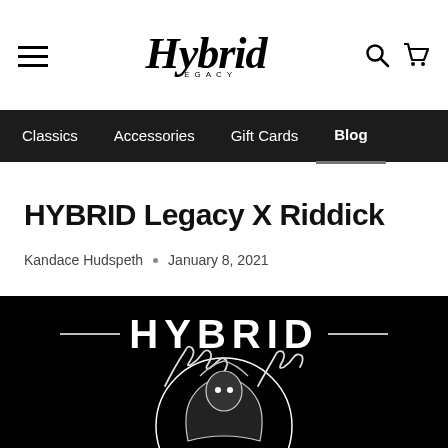Hybrid Legacy — site header with hamburger menu, logo, search and cart icons
Classics · Accessories · Gift Cards · Blog
HYBRID Legacy X Riddick
Kandace Hudspeth • January 8, 2021
[Figure (illustration): Black background illustration showing a skeletal/demonic figure with clawed hands raised, wearing a hooded cloak, inside a circular frame with the word HYBRID in stylized metal lettering at the top.]